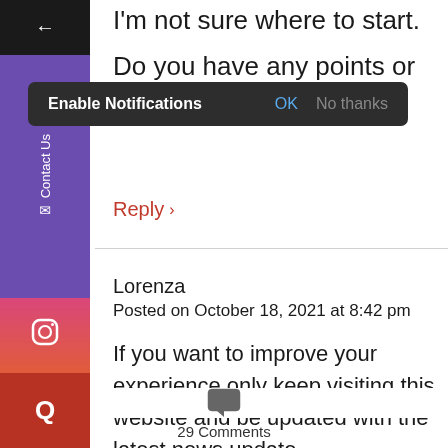I'm not sure where to start.
Do you have any points or
[Figure (screenshot): Enable Notifications popup bar with OK and No thanks options]
Reply >
Lorenza
Posted on October 18, 2021 at 8:42 pm
If you want to improve your experience only keep visiting this website and be updated with the latest news update
[Figure (illustration): Comment speech bubble icon]
29 Comments